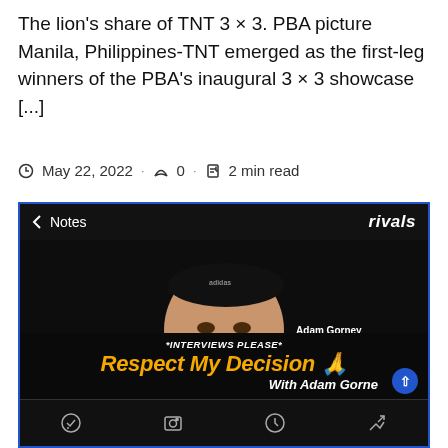The lion's share of TNT 3 × 3. PBA picture Manila, Philippines-TNT emerged as the first-leg winners of the PBA's inaugural 3 × 3 showcase [...]
May 22, 2022 · 0 · 2 min read
[Figure (screenshot): Screenshot of a Rivals app/website page titled 'Respect My Decision' with Adam Gorney, National Recruiting Director. Shows a dark background with a man in a black cap smiling. Text reads '*INTERVIEWS PLEASE*' and 'Respect My Decision 🙏 With Adam Gorney'. Has a Notes navigation bar at top and icon bar at bottom.]